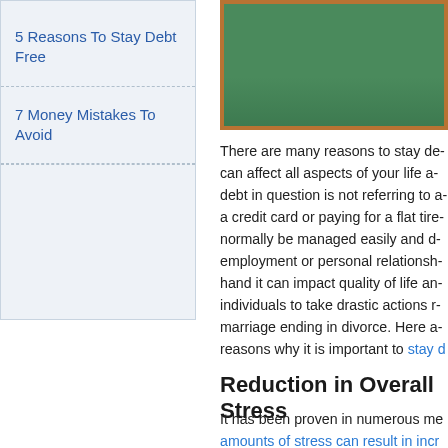5 Reasons To Stay Debt Free
7 Money Mistakes To Avoid
[Figure (photo): Chalkboard/blackboard with wooden frame, green surface, partial view]
There are many reasons to stay de... can affect all aspects of your life a... debt in question is not referring to a... a credit card or paying for a flat tire... normally be managed easily and d... employment or personal relationshi... hand it can impact quality of life an... individuals to take drastic actions r... marriage ending in divorce. Here a... reasons why it is important to stay d...
Reduction in Overall Stress
It has been proven in numerous me... amounts of stress can result in incr... overall health. Life is stressful eno...